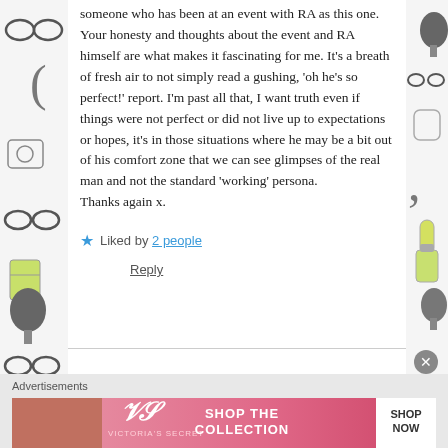someone who has been at an event with RA as this one. Your honesty and thoughts about the event and RA himself are what makes it fascinating for me. It's a breath of fresh air to not simply read a gushing, 'oh he's so perfect!' report. I'm past all that, I want truth even if things were not perfect or did not live up to expectations or hopes, it's in those situations where he may be a bit out of his comfort zone that we can see glimpses of the real man and not the standard 'working' persona.
Thanks again x.
★ Liked by 2 people
Reply
Advertisements
[Figure (other): Victoria's Secret advertisement banner showing a model, VS logo, text 'SHOP THE COLLECTION', and a 'SHOP NOW' button]